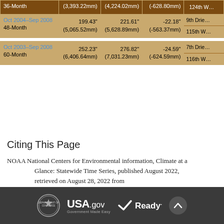| Period | Observed | Average | Departure | Rank |
| --- | --- | --- | --- | --- |
| 36-Month | (3,393.22mm) | (4,224.02mm) | (-628.80mm) | 124th W… |
| Oct 2004–Sep 2008 / 48-Month | 199.43" (5,065.52mm) | 221.61" (5,628.89mm) | -22.18" (-563.37mm) | 9th Drie… / 115th W… |
| Oct 2003–Sep 2008 / 60-Month | 252.23" (6,406.64mm) | 276.82" (7,031.23mm) | -24.59" (-624.59mm) | 7th Drie… / 116th W… |
Citing This Page
NOAA National Centers for Environmental information, Climate at a Glance: Statewide Time Series, published August 2022, retrieved on August 28, 2022 from https://www.ncei.noaa.gov/cag/
USA.gov Government Made Easy | Ready. | Department of Commerce Seal